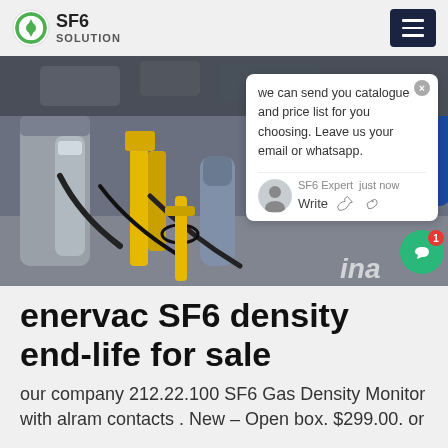SF6 SOLUTION
[Figure (photo): SF6 gas equipment and cylinders in an industrial/electrical substation setting, with a person in a blue uniform visible in the background. A chat popup overlay is visible with the message: 'we can send you catalogue and price list for you choosing. Leave us your email or whatsapp.' Agent: SF6 Expert, just now.]
enervac SF6 density end-life for sale
our company 212.22.100 SF6 Gas Density Monitor with alram contacts . New – Open box. $299.00. or